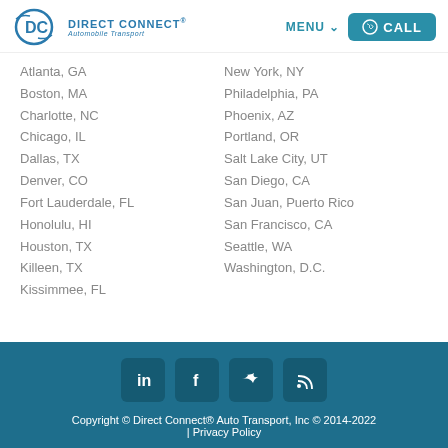[Figure (logo): Direct Connect Automobile Transport logo with DC icon in blue]
MENU ∨
CALL
Atlanta, GA
Boston, MA
Charlotte, NC
Chicago, IL
Dallas, TX
Denver, CO
Fort Lauderdale, FL
Honolulu, HI
Houston, TX
Killeen, TX
Kissimmee, FL
New York, NY
Philadelphia, PA
Phoenix, AZ
Portland, OR
Salt Lake City, UT
San Diego, CA
San Juan, Puerto Rico
San Francisco, CA
Seattle, WA
Washington, D.C.
Copyright © Direct Connect® Auto Transport, Inc © 2014-2022 | Privacy Policy